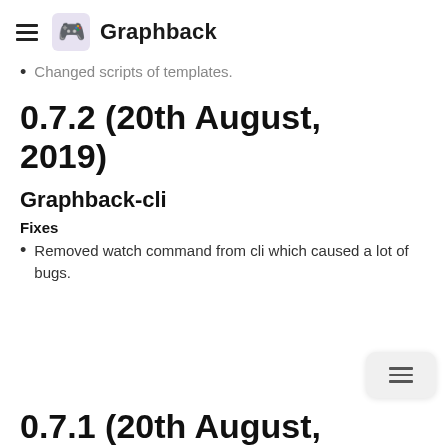Graphback
Changed scripts of templates.
0.7.2 (20th August, 2019)
Graphback-cli
Fixes
Removed watch command from cli which caused a lot of bugs.
0.7.1 (20th August,